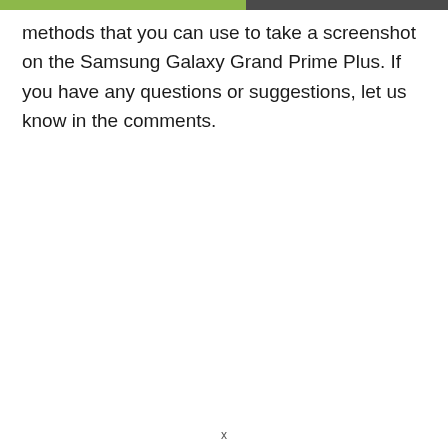methods that you can use to take a screenshot on the Samsung Galaxy Grand Prime Plus. If you have any questions or suggestions, let us know in the comments.
x